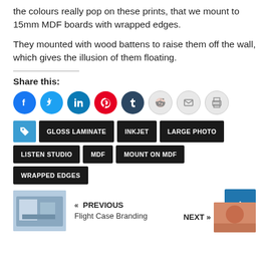the colours really pop on these prints, that we mount to 15mm MDF boards with wrapped edges.
They mounted with wood battens to raise them off the wall, which gives the illusion of them floating.
Share this:
[Figure (infographic): Row of social media share icons: Facebook (blue), Twitter (light blue), LinkedIn (dark blue), Pinterest (red), Tumblr (dark navy), Reddit (light grey), Email (grey), Print (grey)]
GLOSS LAMINATE
INKJET
LARGE PHOTO
LISTEN STUDIO
MDF
MOUNT ON MDF
WRAPPED EDGES
« PREVIOUS
Flight Case Branding
NEXT »